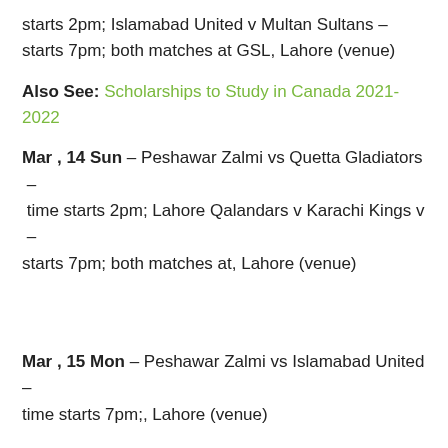starts 2pm; Islamabad United v Multan Sultans – starts 7pm; both matches at GSL, Lahore (venue)
Also See: Scholarships to Study in Canada 2021-2022
Mar , 14 Sun – Peshawar Zalmi vs Quetta Gladiators – time starts 2pm; Lahore Qalandars v Karachi Kings v – starts 7pm; both matches at, Lahore (venue)
Mar , 15 Mon – Peshawar Zalmi vs Islamabad United – time starts 7pm;, Lahore (venue)